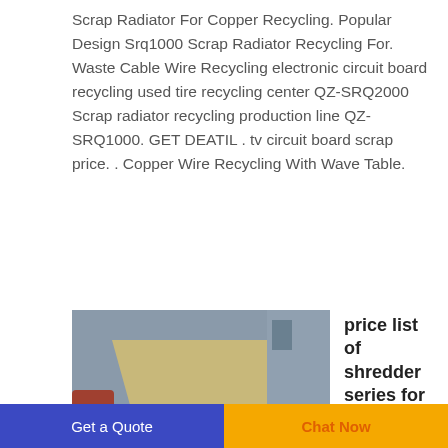Scrap Radiator For Copper Recycling. Popular Design Srq1000 Scrap Radiator Recycling For. Waste Cable Wire Recycling electronic circuit board recycling used tire recycling center QZ-SRQ2000 Scrap radiator recycling production line QZ-SRQ1000. GET DEATIL . tv circuit board scrap price. . Copper Wire Recycling With Wave Table.
[Figure (photo): Industrial shredder machine with red side panels and grey body, standing on red legs, photographed outdoors.]
price list of shredder series for cut copper engines armoured
high
Get a Quote    Chat Now